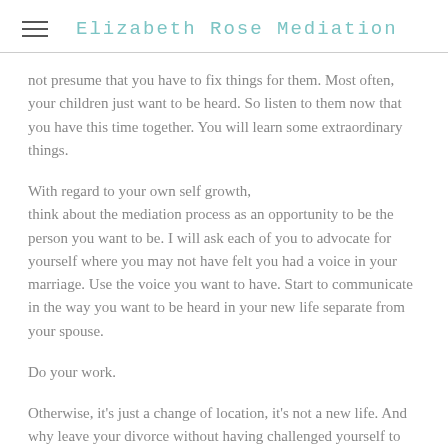Elizabeth Rose Mediation
not presume that you have to fix things for them. Most often, your children just want to be heard. So listen to them now that you have this time together. You will learn some extraordinary things.
With regard to your own self growth, think about the mediation process as an opportunity to be the person you want to be. I will ask each of you to advocate for yourself where you may not have felt you had a voice in your marriage. Use the voice you want to have. Start to communicate in the way you want to be heard in your new life separate from your spouse.
Do your work.
Otherwise, it's just a change of location, it's not a new life. And why leave your divorce without having challenged yourself to